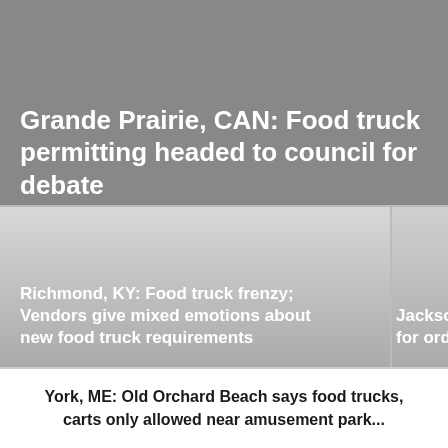Grande Prairie, CAN: Food truck permitting headed to council for debate
Richmond, KY: Food truck frenzy; Vendors give mixed emotions about new food truck requirements
Jacksonvi... for ordina...
York, ME: Old Orchard Beach says food trucks, carts only allowed near amusement park...